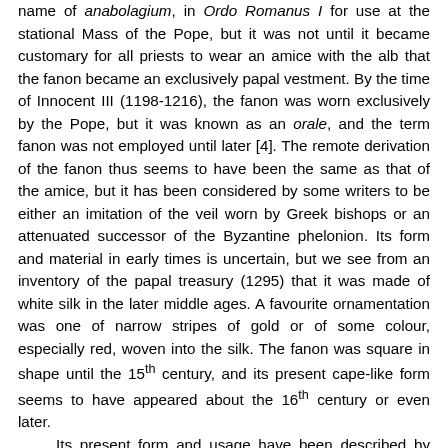name of anabolagium, in Ordo Romanus I for use at the stational Mass of the Pope, but it was not until it became customary for all priests to wear an amice with the alb that the fanon became an exclusively papal vestment. By the time of Innocent III (1198-1216), the fanon was worn exclusively by the Pope, but it was known as an orale, and the term fanon was not employed until later [4]. The remote derivation of the fanon thus seems to have been the same as that of the amice, but it has been considered by some writers to be either an imitation of the veil worn by Greek bishops or an attenuated successor of the Byzantine phelonion. Its form and material in early times is uncertain, but we see from an inventory of the papal treasury (1295) that it was made of white silk in the later middle ages. A favourite ornamentation was one of narrow stripes of gold or of some colour, especially red, woven into the silk. The fanon was square in shape until the 15th century, and its present cape-like form seems to have appeared about the 16th century or even later.

Its present form and usage have been described by Braun in the Catholic Encyclopedia: 'It is a shoulder cape worn by the Pope alone, consisting of two pieces of white